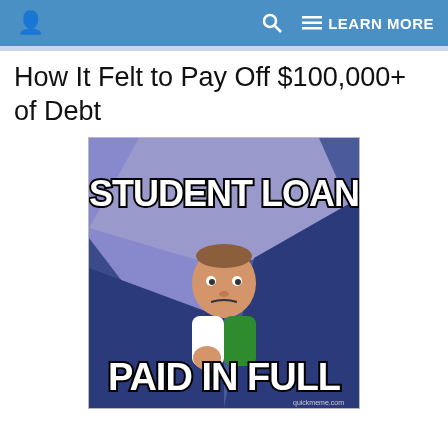LEARN MORE
How It Felt to Pay Off $100,000+ of Debt
[Figure (photo): Internet meme image (Success Kid) with text 'STUDENT LOAN' at top and 'PAID IN FULL' at bottom, featuring a toddler making a fist against a blue/purple geometric background. Watermark: quickmeme.com]